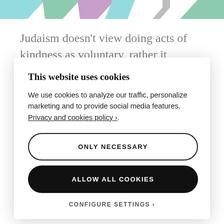[Figure (illustration): Colorful logo/brand graphic with diagonal chevron/arrow shapes in teal, green, purple, and dark teal colors at the top of the page]
Judaism doesn't view doing acts of kindness as voluntary, rather it instructs 14 mandatory acts
This website uses cookies
We use cookies to analyze our traffic, personalize marketing and to provide social media features. Privacy and cookies policy ›.
ONLY NECESSARY
ALLOW ALL COOKIES
CONFIGURE SETTINGS ›
10. Return lost objects
11. Offer roadside assistance